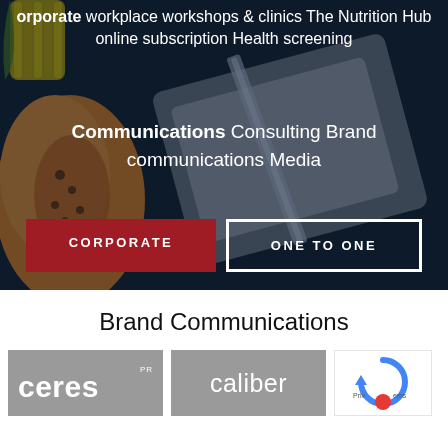corporate workplace workshops & clinics The Nutrition Hub online subscription Health screening
Communications Consulting Brand communications Media
CORPORATE
ONE TO ONE
Brand Communications
[Figure (logo): Ceres PR logo in white text on grey background]
[Figure (logo): caliber logo in white text on grey background]
[Figure (logo): Partial reCAPTCHA logo visible at right edge]